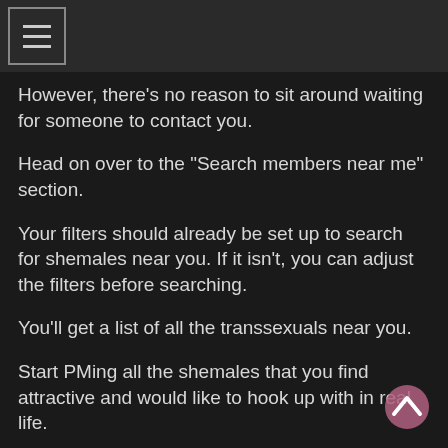Menu
However, there’s no reason to sit around waiting for someone to contact you.
Head on over to the “Search members near me” section.
Your filters should already be set up to search for shemales near you. If it isn’t, you can adjust the filters before searching.
You’ll get a list of all the transsexuals near you.
Start PMing all the shemales that you find attractive and would like to hook up with in real life.
When sending out your messages, try to be original. “Hey babe” or “You’re hot” isn’t good enough. Sure, some may reply, but a unique PM will yield much bett...